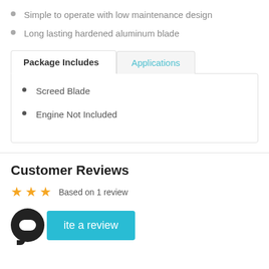Simple to operate with low maintenance design
Long lasting hardened aluminum blade
Package Includes
Screed Blade
Engine Not Included
Customer Reviews
Based on 1 review